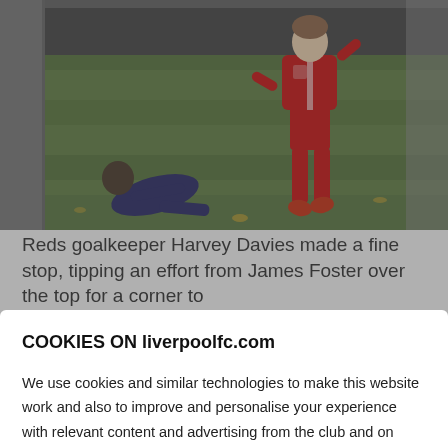[Figure (photo): Football/soccer action photo showing a Liverpool player in red kit dribbling past a fallen opponent on a grass pitch]
Reds goalkeeper Harvey Davies made a fine stop, tipping an effort from James Foster over the top for a corner to
COOKIES ON liverpoolfc.com

We use cookies and similar technologies to make this website work and also to improve and personalise your experience with relevant content and advertising from the club and on behalf of our commercial partners. By clicking "Accept All Cookies", you agree to their use in line with our Cookie Policy. You can switch off non essential cookies using "Manage Settings" but this may affect the functionality of the website and we recommend allowing them for